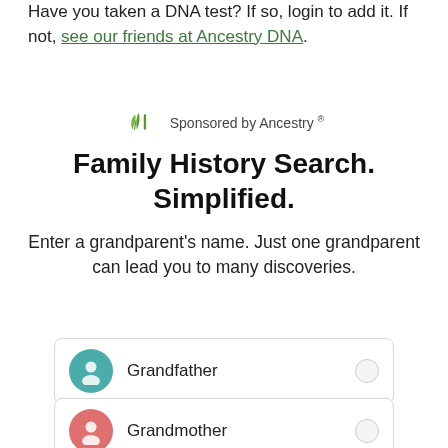Have you taken a DNA test? If so, login to add it. If not, see our friends at Ancestry DNA.
[Figure (logo): Ancestry leaf logo icon in green]
Sponsored by Ancestry °
Family History Search. Simplified.
Enter a grandparent's name. Just one grandparent can lead you to many discoveries.
Grandfather
Grandmother